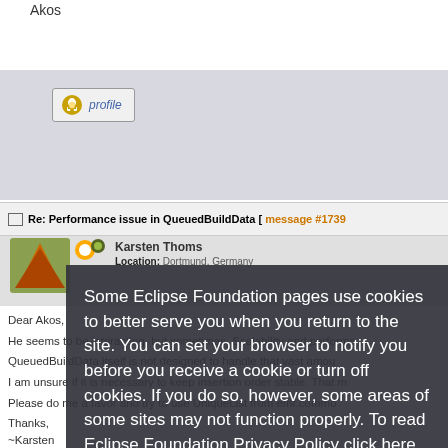Akos
[Figure (other): Profile button with bell icon and 'profile' label]
Re: Performance issue in QueuedBuildData [ message #1739
Karsten Thoms
Location: Dortmund, Germany
Dear Akos,
He seems to be interacting, but sometimes. Scalability and performance...
QueuedBuildData itself is not designed to handle that vast amount...
I am unsure if it is necessary to keep insertion order stable. That m...
Please do me a favor and try to use UniqueList from emf.commo...
Thanks,
~Karsten
Some Eclipse Foundation pages use cookies to better serve you when you return to the site. You can set your browser to notify you before you receive a cookie or turn off cookies. If you do so, however, some areas of some sites may not function properly. To read Eclipse Foundation Privacy Policy click here.
Decline
Allow cookies